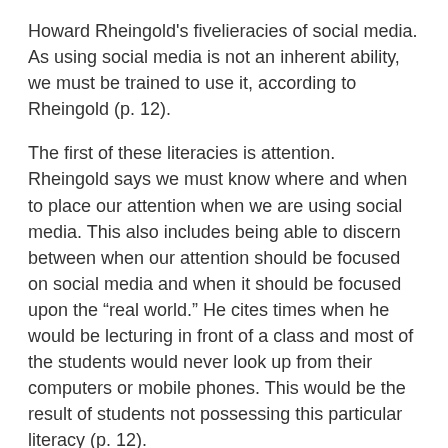Howard Rheingold's fivelieracies of social media. As using social media is not an inherent ability, we must be trained to use it, according to Rheingold (p. 12).
The first of these literacies is attention. Rheingold says we must know where and when to place our attention when we are using social media. This also includes being able to discern between when our attention should be focused on social media and when it should be focused upon the “real world.” He cites times when he would be lecturing in front of a class and most of the students would never look up from their computers or mobile phones. This would be the result of students not possessing this particular literacy (p. 12).
Another literacy is participating. Rheingold says that one must know when to participate, citing commenting on a blog as a common example. He notes that not only do we need to know when to participate, we must know how to do so in such a way that is appropriate and helpful. Collaboration is